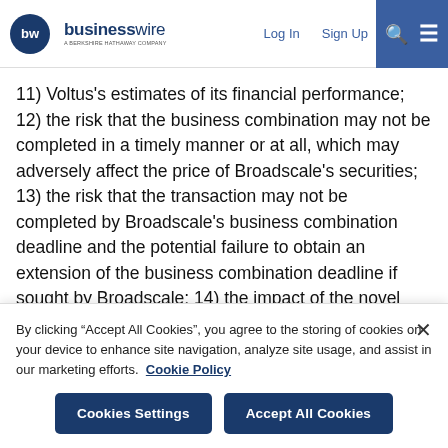businesswire — A BERKSHIRE HATHAWAY COMPANY | Log In | Sign Up
11) Voltus's estimates of its financial performance; 12) the risk that the business combination may not be completed in a timely manner or at all, which may adversely affect the price of Broadscale's securities; 13) the risk that the transaction may not be completed by Broadscale's business combination deadline and the potential failure to obtain an extension of the business combination deadline if sought by Broadscale; 14) the impact of the novel coronavirus disease pandemic, including any mutations or variants thereof, and its effect on business and financial conditions; 15) inability to complete the PIPE investment in connection with the business
By clicking "Accept All Cookies", you agree to the storing of cookies on your device to enhance site navigation, analyze site usage, and assist in our marketing efforts. Cookie Policy
Cookies Settings | Accept All Cookies